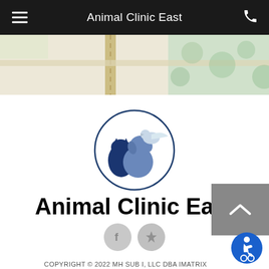Animal Clinic East
[Figure (map): Street map strip showing roads and green areas near Animal Clinic East location]
[Figure (logo): Animal Clinic East logo: circle containing silhouettes of a cat, dog, and bird in dark blue and grey tones]
Animal Clinic East
[Figure (infographic): Social media icons: Facebook (f) and Yelp (star burst) in grey circles]
COPYRIGHT © 2022 MH SUB I, LLC DBA IMATRIX
ADMIN LOG IN
SITE MAP
TERMS OF USE